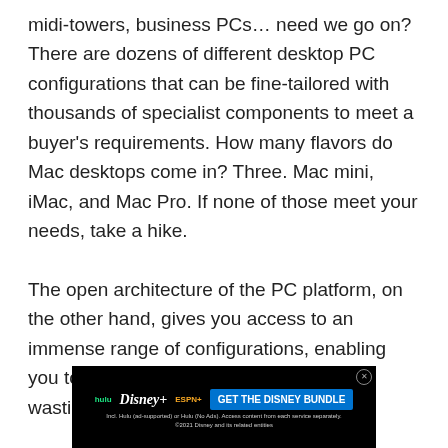midi-towers, business PCs... need we go on? There are dozens of different desktop PC configurations that can be fine-tailored with thousands of specialist components to meet a buyer's requirements. How many flavors do Mac desktops come in? Three. Mac mini, iMac, and Mac Pro. If none of those meet your needs, take a hike.

The open architecture of the PC platform, on the other hand, gives you access to an immense range of configurations, enabling you to tailor a PC to your needs without wasting money on
[Figure (other): Advertisement banner for The Disney Bundle featuring Hulu, Disney+, and ESPN+ logos with a 'GET THE DISNEY BUNDLE' call-to-action button and fine print text '© 2021 Disney and its related entities']